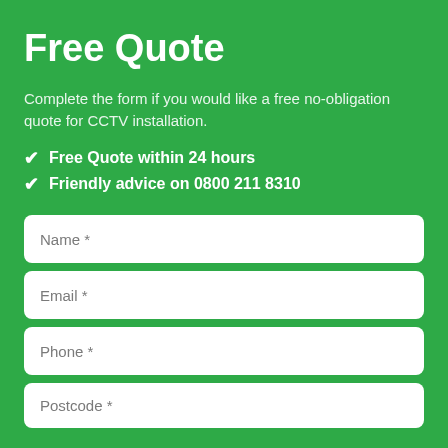Free Quote
Complete the form if you would like a free no-obligation quote for CCTV installation.
Free Quote within 24 hours
Friendly advice on 0800 211 8310
Name *
Email *
Phone *
Postcode *